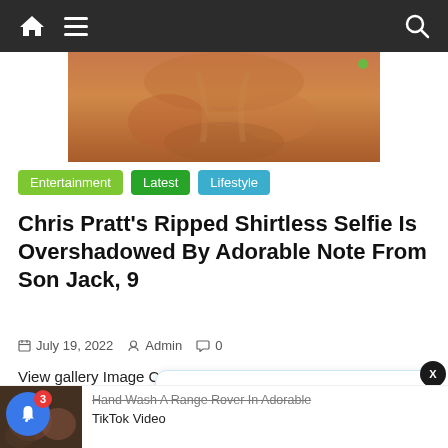Navigation bar with home, menu, and search icons
[Figure (photo): Close-up shirtless torso photo, warm orange/tan skin tones]
Entertainment   Latest   Lifestyle
Chris Pratt’s Ripped Shirtless Selfie Is Overshadowed By Adorable Note From Son Jack, 9
July 19, 2022   Admin   0
View gallery Image Credit: ©Walt Disney Studios Motion Pictures/Courtesy Everett Collection Chris Pratt flexed his muscles in a brand new shirtless
Kyrgios ends Medvedev’s reign at US Open
2 hours ago
Hand Wash A Range Rover In Adorable TikTok Video